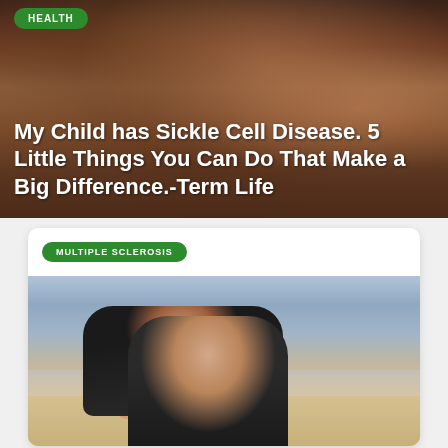[Figure (photo): Hands clasped together, close-up photo, warm brown tones]
HEALTH
My Child has Sickle Cell Disease. 5 Little Things You Can Do That Make a Big Difference.-Term Life
[Figure (photo): Woman sitting on beach, smiling, wearing black jacket and salmon scarf, holding a book/tablet, ocean waves in background]
MULTIPLE SCLEROSIS